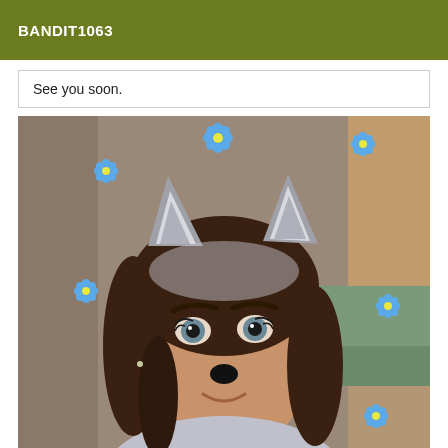BANDIT1063
See you soon.
[Figure (photo): Selfie of a young woman with a Snapchat wolf/cat ear filter applied, showing grey furry ears on top of her head, a black nose overlay, and blue flower decorations scattered around the image. She is wearing a striped shirt and smiling slightly.]